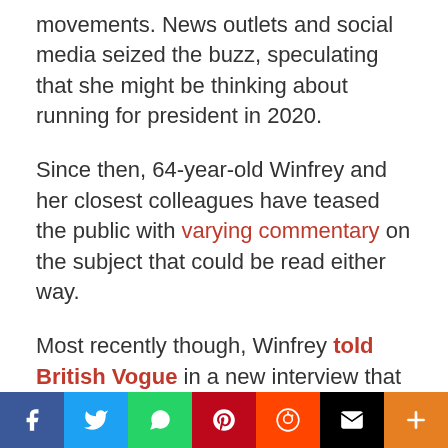movements. News outlets and social media seized the buzz, speculating that she might be thinking about running for president in 2020.
Since then, 64-year-old Winfrey and her closest colleagues have teased the public with varying commentary on the subject that could be read either way.
Most recently though, Winfrey told British Vogue in a new interview that she couldn't stomach a presidential run.
“In that political structure — all the non-truths, the bullsh*t, the crap, the nastiness, the backhanded